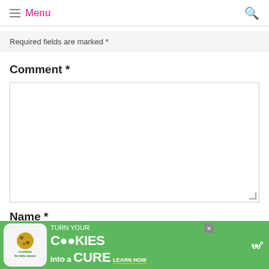Menu
Required fields are marked *
Comment *
Name *
[Figure (other): Cookies for Kids Cancer advertisement banner: 'turn your COOKIES into a CURE LEARN HOW']